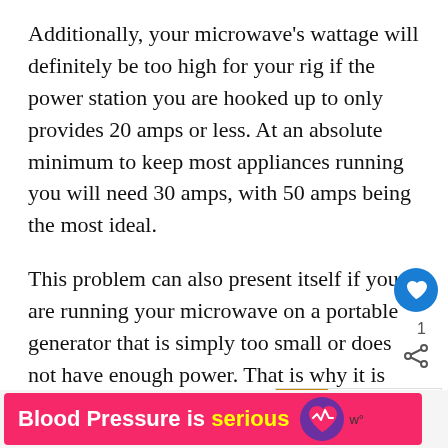Additionally, your microwave's wattage will definitely be too high for your rig if the power station you are hooked up to only provides 20 amps or less. At an absolute minimum to keep most appliances running you will need 30 amps, with 50 amps being the most ideal.
This problem can also present itself if you are running your microwave on a portable generator that is simply too small or does not have enough power. That is why it is very important to know what size generator is best for your rig. If running lots of different appliances on a generator, turn off the others and then see if your
[Figure (infographic): UI overlay with heart/like button (blue circle with heart icon), share count '1', and share icon on the right side of the page]
[Figure (infographic): WHAT'S NEXT widget with thumbnail image and text 'How Do RV Slide Outs...']
[Figure (infographic): Advertisement banner: pink/red background with white bold text 'Blood Pressure is serious' with yellow word 'serious' and a purple heart logo]